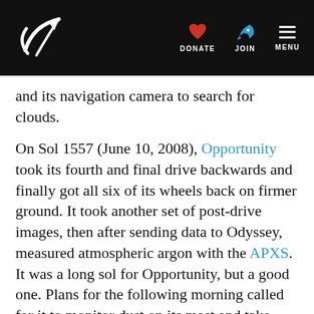Planetary Society logo | DONATE | JOIN | MENU
and its navigation camera to search for clouds.
On Sol 1557 (June 10, 2008), Opportunity took its fourth and final drive backwards and finally got all six of its wheels back on firmer ground. It took another set of post-drive images, then after sending data to Odyssey, measured atmospheric argon with the APXS. It was a long sol for Opportunity, but a good one. Plans for the following morning called for it to monitor dust on its mast and take another six-frame "movie" in search of